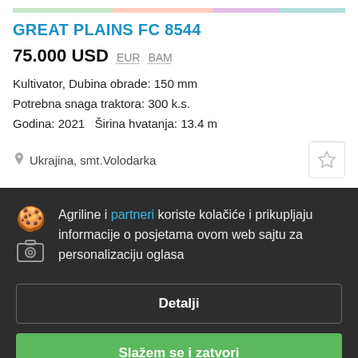GREAT PLAINS FC 8544
75.000 USD   EUR   BAM
Kultivator, Dubina obrade: 150 mm
Potrebna snaga traktora: 300 k.s.
Godina: 2021   Širina hvatanja: 13.4 m
Ukrajina, smt.Volodarka
Agriline i partneri koriste kolačiće i prikupljaju informacije o posjetama ovom web sajtu za personalizaciju oglasa
Detalji
Slažem se i zatvori